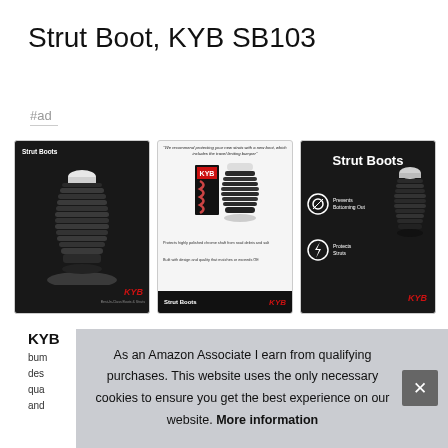Strut Boot, KYB SB103
#ad
[Figure (photo): Three product images of KYB Strut Boots: (1) dark background with strut boot product and KYB logo, (2) white background with product quote and dual product images and footer bar, (3) dark background listing features 'Prevents Bottoming Out' and 'Protects Struts' with KYB logo]
KYB
bum
des
qua
and
As an Amazon Associate I earn from qualifying purchases. This website uses the only necessary cookies to ensure you get the best experience on our website. More information